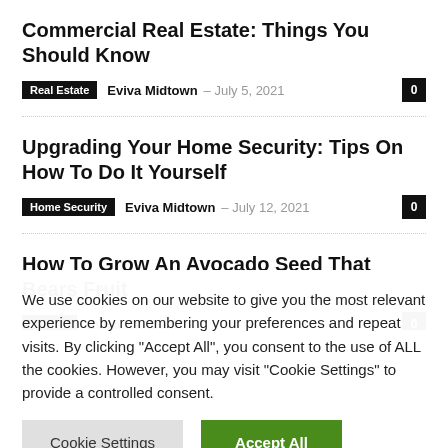Commercial Real Estate: Things You Should Know
Real Estate  Eviva Midtown  – July 5, 2021  0
Upgrading Your Home Security: Tips On How To Do It Yourself
Home Security  Eviva Midtown  – July 12, 2021  0
How To Grow An Avocado Seed That Bears Fruit
Garden  Eviva Midtown  – July 15, 2021  0
We use cookies on our website to give you the most relevant experience by remembering your preferences and repeat visits. By clicking "Accept All", you consent to the use of ALL the cookies. However, you may visit "Cookie Settings" to provide a controlled consent.